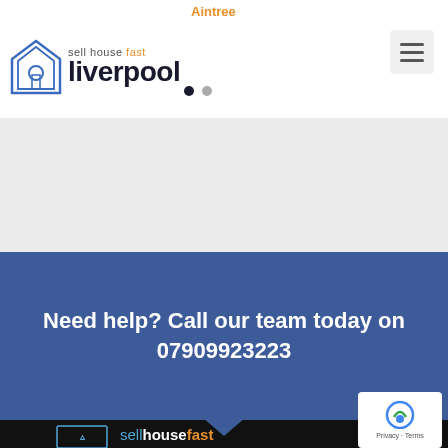[Figure (logo): Sell House Fast Liverpool logo with house icon in blue, text 'sell house fast' and 'liverpool' in dark/orange]
Aintree
[Figure (screenshot): Grey blank content area section]
Need help? Call our team today on 07909923223
[Figure (logo): Sell House Fast footer logo in white and orange on black background]
[Figure (screenshot): Google reCAPTCHA badge showing Privacy - Terms]